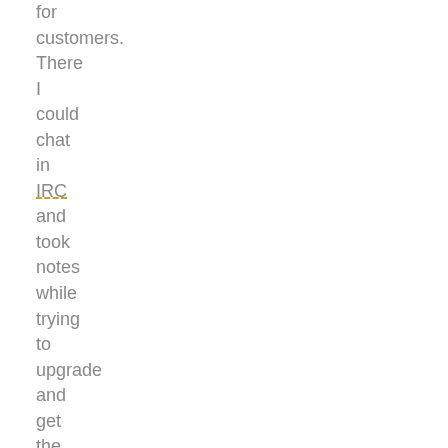for customers. There I could chat in IRC and took notes while trying to upgrade and get the whole thing working again.

When everything was ready, I put the SuSE DVD in...